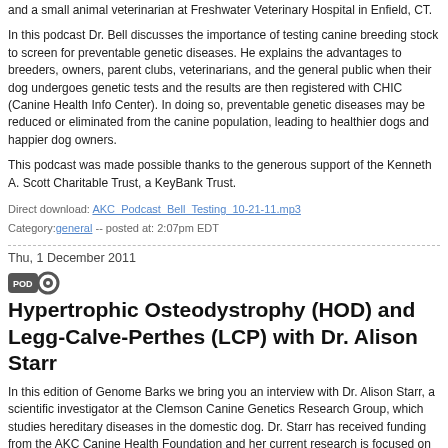and a small animal veterinarian at Freshwater Veterinary Hospital in Enfield, CT.
In this podcast Dr. Bell discusses the importance of testing canine breeding stock to screen for preventable genetic diseases. He explains the advantages to breeders, owners, parent clubs, veterinarians, and the general public when their dog undergoes genetic tests and the results are then registered with CHIC (Canine Health Info Center). In doing so, preventable genetic diseases may be reduced or eliminated from the canine population, leading to healthier dogs and happier dog owners.
This podcast was made possible thanks to the generous support of the Kenneth A. Scott Charitable Trust, a KeyBank Trust.
Direct download: AKC_Podcast_Bell_Testing_10-21-11.mp3
Category:general -- posted at: 2:07pm EDT
Thu, 1 December 2011
Hypertrophic Osteodystrophy (HOD) and Legg-Calve-Perthes (LCP) with Dr. Alison Starr
In this edition of Genome Barks we bring you an interview with Dr. Alison Starr, a scientific investigator at the Clemson Canine Genetics Research Group, which studies hereditary diseases in the domestic dog. Dr. Starr has received funding from the AKC Canine Health Foundation and her current research is focused on the development of genetic tests to help predict and screen for hereditary diseases.
In this podcast Dr. Starr discusses her study of Hypertrophic Osteodystrophy (HOD), a bone disease that usually affects young, rapidly growing, large breed dogs. Specifically, she is looking at HOD in Irish Setters. Additionally, Dr. Starr discusses her study of Legg-Calve-Perthes (LCP), a disease that results in the abnormal deformity of the ball of the hip joint and usually occurs in young miniature and small breeds of dogs. Specifically, she is looking at LCP in West Highland White Terriers and other Terrier breeds. For both HOD and LCP, Dr. Starr is hoping to discover the gene or genes responsible for these diseases so that genetic tests might be developed as a tool for producing better and healthier dogs.